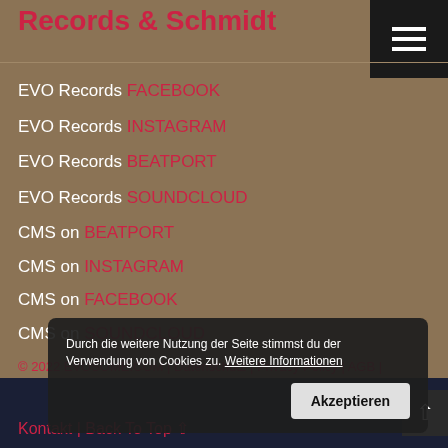Records & Schmidt
EVO Records FACEBOOK
EVO Records INSTAGRAM
EVO Records BEATPORT
EVO Records SOUNDCLOUD
CMS on BEATPORT
CMS on INSTAGRAM
CMS on FACEBOOK
CMS on SOUNDCLOUD
Durch die weitere Nutzung der Seite stimmst du der Verwendung von Cookies zu. Weitere Informationen
© 2022 EVOSOME.COM | Datenschutz | Privacy Policy | AGB | Kontakt | Back To Top